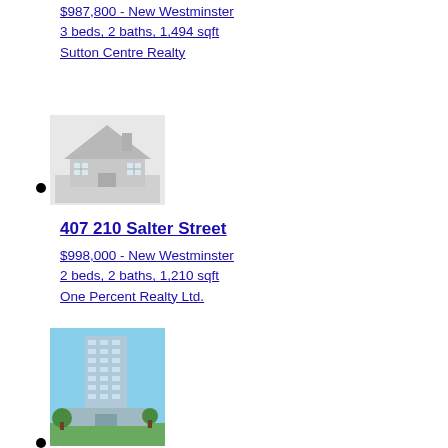$987,800 - New Westminster
3 beds, 2 baths, 1,494 sqft
Sutton Centre Realty
[Figure (photo): Placeholder house icon image (grey silhouette of a house)]
407 210 Salter Street
$998,000 - New Westminster
2 beds, 2 baths, 1,210 sqft
One Percent Realty Ltd.
[Figure (photo): Photo of a tall modern residential tower building with blue sky background]